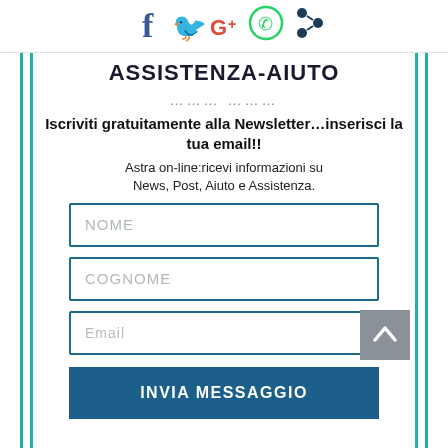[Figure (infographic): Social media sharing icons: Facebook (blue), Twitter (light blue), Google+ (red/orange), WhatsApp (green), Share (dark blue)]
ASSISTENZA-AIUTO
.......... ..........
Iscriviti gratuitamente alla Newsletter...inserisci la tua email!!
Astra on-line:ricevi informazioni su News, Post, Aiuto e Assistenza.
NOME (form field)
COGNOME (form field)
Email (form field)
INVIA MESSAGGIO (submit button)